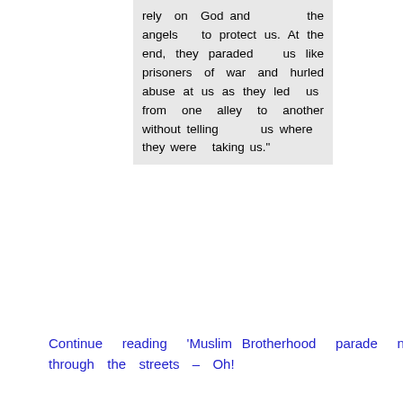rely on God and the angels to protect us. At the end, they paraded us like prisoners of war and hurled abuse at us as they led us from one alley to another without telling us where they were taking us."
Continue reading 'Muslim Brotherhood parade nuns through the streets – Oh!